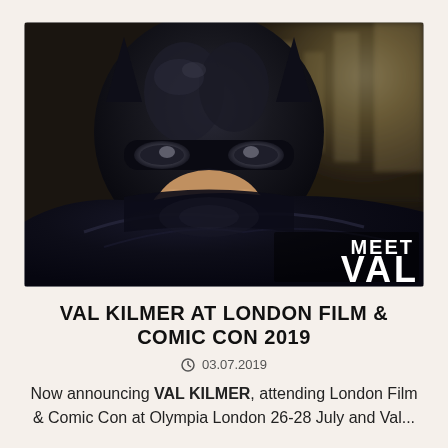[Figure (photo): Batman (Val Kilmer in Batman Forever) in full costume and mask, close-up dramatic shot with city background. Bottom right overlay text reads 'MEET VAL' in white bold letters.]
VAL KILMER AT LONDON FILM & COMIC CON 2019
03.07.2019
Now announcing VAL KILMER, attending London Film & Comic Con at Olympia London 26-28 July and Val...